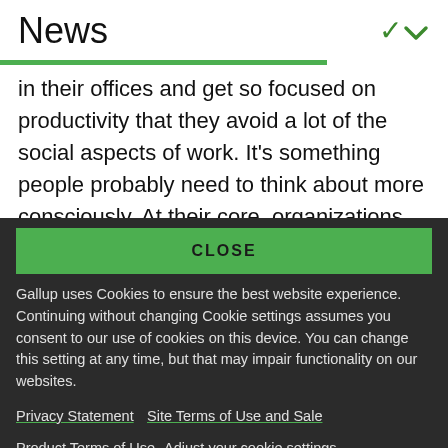News
in their offices and get so focused on productivity that they avoid a lot of the social aspects of work. It's something people probably need to think about more consciously. At their core, organizations are
CLOSE
Gallup uses Cookies to ensure the best website experience. Continuing without changing Cookie settings assumes you consent to our use of cookies on this device. You can change this setting at any time, but that may impair functionality on our websites.
Privacy Statement   Site Terms of Use and Sale
Product Terms of Use   Adjust your cookie settings.